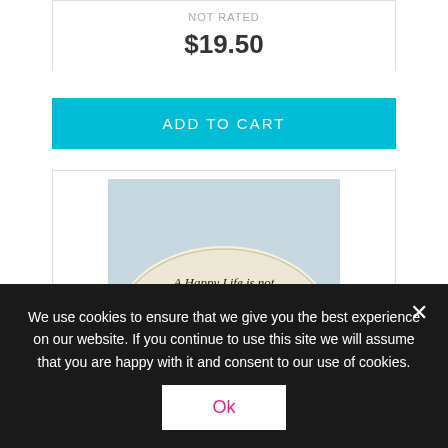NOT RATED
$19.50
ADD TO CART
[Figure (photo): A decorative pillow with script text reading: A Happy Life is not Measured by minutes, But by precious moments spent with Grandchildren. A clock stamp is visible on the pillow. A light-coloured rose is beside the pillow.]
We use cookies to ensure that we give you the best experience on our website. If you continue to use this site we will assume that you are happy with it and consent to our use of cookies.
Ok